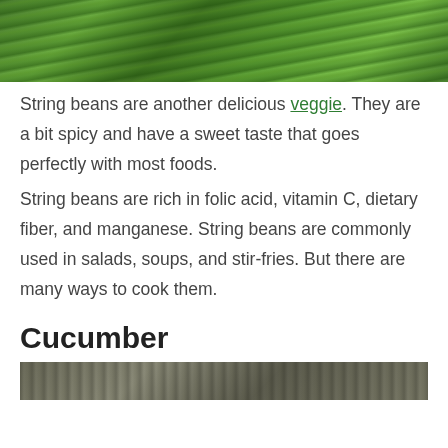[Figure (photo): Close-up photo of green string beans/long beans bundled together]
String beans are another delicious veggie. They are a bit spicy and have a sweet taste that goes perfectly with most foods.
String beans are rich in folic acid, vitamin C, dietary fiber, and manganese. String beans are commonly used in salads, soups, and stir-fries. But there are many ways to cook them.
Cucumber
[Figure (photo): Photo of cucumber(s), partially visible at bottom of page]